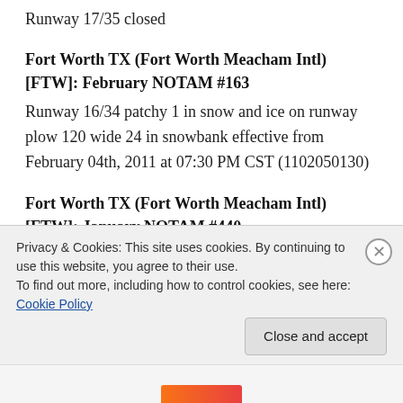Runway 17/35 closed
Fort Worth TX (Fort Worth Meacham Intl) [FTW]: February NOTAM #163
Runway 16/34 patchy 1 in snow and ice on runway plow 120 wide 24 in snowbank effective from February 04th, 2011 at 07:30 PM CST (1102050130)
Fort Worth TX (Fort Worth Meacham Intl) [FTW]: January NOTAM #440
Runway 9/27 closed effective from February 02nd, 2011 at 06:00 AM CST (1102021200) – February
Privacy & Cookies: This site uses cookies. By continuing to use this website, you agree to their use.
To find out more, including how to control cookies, see here: Cookie Policy
Close and accept